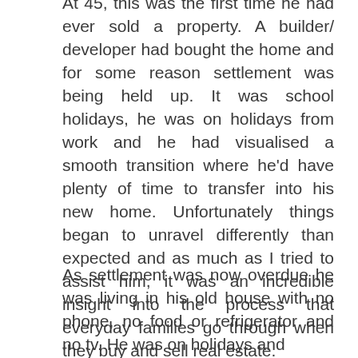At 45, this was the first time he had ever sold a property. A builder/ developer had bought the home and for some reason settlement was being held up. It was school holidays, he was on holidays from work and he had visualised a smooth transition where he'd have plenty of time to transfer into his new home. Unfortunately things began to unravel differently than expected and as much as I tried to assist him, it was an incredible insight into the process that everyday families go through when they buy and sell real estate.
As settlement was now overdue he was living in his old house with no phone, no food or refrigerator and no tv. He was on holidays and ...